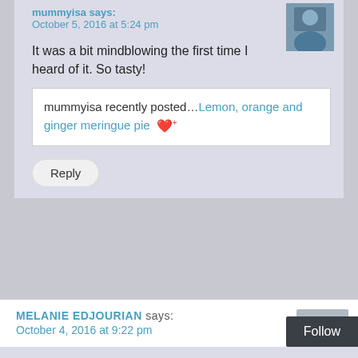mummyisa says: October 5, 2016 at 5:24 pm
It was a bit mindblowing the first time I heard of it. So tasty!
mummyisa recently posted…Lemon, orange and ginger meringue pie
Reply
MELANIE EDJOURIAN says: October 4, 2016 at 9:22 pm
That looks amazing, I've been meaning to make one of these. I'm so pleased I found your post. Thanks for sharing.
Reply
Follow